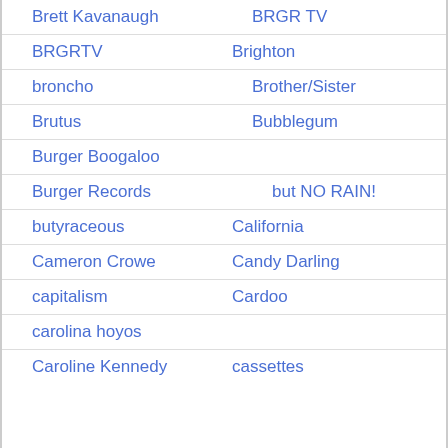Brett Kavanaugh    BRGR TV
BRGRTV    Brighton
broncho    Brother/Sister
Brutus    Bubblegum
Burger Boogaloo
Burger Records    but NO RAIN!
butyraceous    California
Cameron Crowe    Candy Darling
capitalism    Cardoo
carolina hoyos
Caroline Kennedy    cassettes